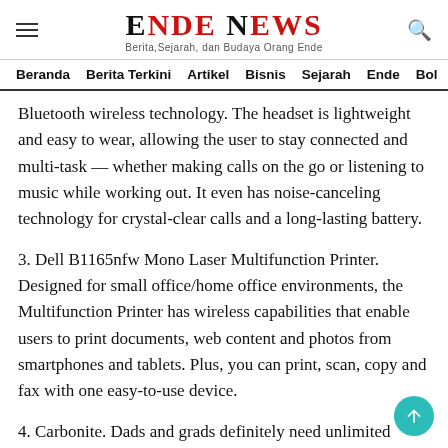ENDE NEWS — Berita,Sejarah, dan Budaya Orang Ende
Beranda  Berita Terkini  Artikel  Bisnis  Sejarah  Ende  Bol
Bluetooth wireless technology. The headset is lightweight and easy to wear, allowing the user to stay connected and multi-task — whether making calls on the go or listening to music while working out. It even has noise-canceling technology for crystal-clear calls and a long-lasting battery.
3. Dell B1165nfw Mono Laser Multifunction Printer. Designed for small office/home office environments, the Multifunction Printer has wireless capabilities that enable users to print documents, web content and photos from smartphones and tablets. Plus, you can print, scan, copy and fax with one easy-to-use device.
4. Carbonite. Dads and grads definitely need unlimited cloud backup and stress-free data recovery. Carbonite automatically